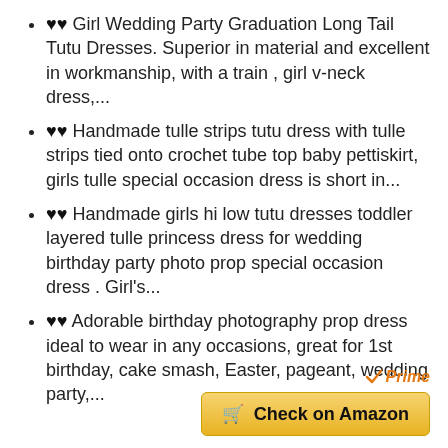♥♥ Girl Wedding Party Graduation Long Tail Tutu Dresses. Superior in material and excellent in workmanship, with a train , girl v-neck dress,...
♥♥ Handmade tulle strips tutu dress with tulle strips tied onto crochet tube top baby pettiskirt, girls tulle special occasion dress is short in...
♥♥ Handmade girls hi low tutu dresses toddler layered tulle princess dress for wedding birthday party photo prop special occasion dress . Girl's...
♥♥ Adorable birthday photography prop dress ideal to wear in any occasions, great for 1st birthday, cake smash, Easter, pageant, wedding party,...
[Figure (other): Amazon Prime badge and Check on Amazon button]